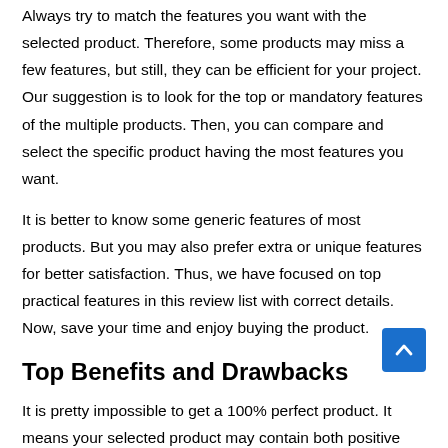Always try to match the features you want with the selected product. Therefore, some products may miss a few features, but still, they can be efficient for your project. Our suggestion is to look for the top or mandatory features of the multiple products. Then, you can compare and select the specific product having the most features you want.
It is better to know some generic features of most products. But you may also prefer extra or unique features for better satisfaction. Thus, we have focused on top practical features in this review list with correct details. Now, save your time and enjoy buying the product.
Top Benefits and Drawbacks
It is pretty impossible to get a 100% perfect product. It means your selected product may contain both positive and critical aspects together. So, keep the top benefits in mind and justify that they will fulfill your apple corer slicer needs. Alternatively, the product flaws